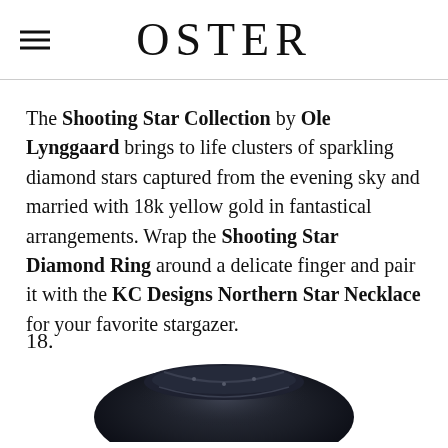OSTER
The Shooting Star Collection by Ole Lynggaard brings to life clusters of sparkling diamond stars captured from the evening sky and married with 18k yellow gold in fantastical arrangements. Wrap the Shooting Star Diamond Ring around a delicate finger and pair it with the KC Designs Northern Star Necklace for your favorite stargazer.
18.
[Figure (photo): Top view of a dark blue/black leather item, appears to be a bag or accessory, partially visible at the bottom of the page.]